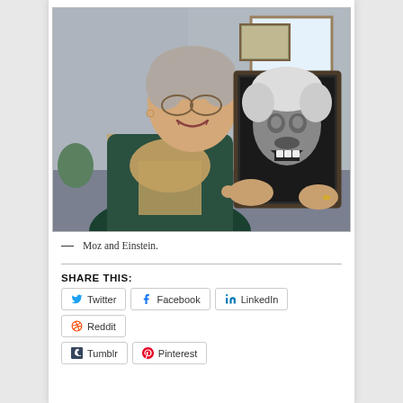[Figure (photo): Elderly woman smiling and holding up a framed black-and-white photograph of Albert Einstein laughing.]
— Moz and Einstein.
SHARE THIS:
Twitter
Facebook
LinkedIn
Reddit
Tumblr
Pinterest